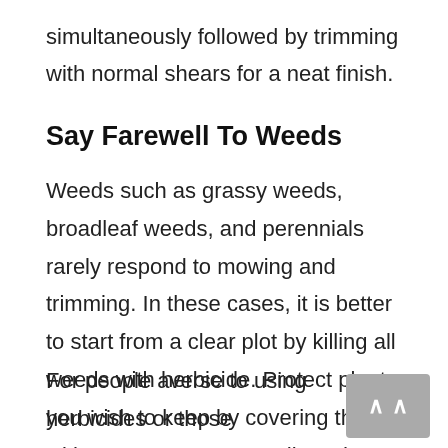simultaneously followed by trimming with normal shears for a neat finish.
Say Farewell To Weeds
Weeds such as grassy weeds, broadleaf weeds, and perennials rarely respond to mowing and trimming. In these cases, it is better to start from a clear plot by killing all weeds with herbicide. Protect plants you wish to keep by covering them with a newspaper or cardboard before spraying.
For people averse to using herbicides or those